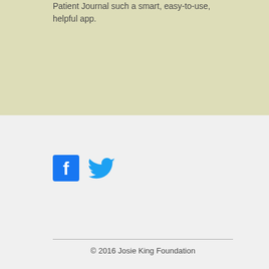Patient Journal such a smart, easy-to-use, helpful app.
[Figure (illustration): Facebook and Twitter social media icons side by side]
© 2016 Josie King Foundation